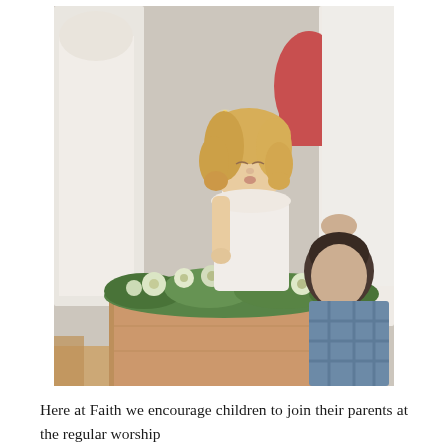[Figure (photo): A young girl with curly blonde hair blowing out a candle held in her hand, standing behind a wooden lectern/altar decorated with green floral arrangement. Another child in a plaid shirt watches from the right. Adults in white robes visible in the background. Church setting.]
Here at Faith we encourage children to join their parents at the regular worship